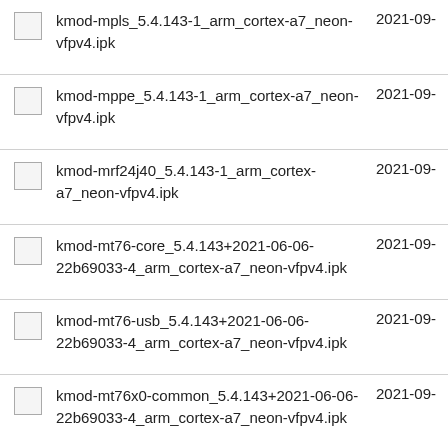kmod-mpls_5.4.143-1_arm_cortex-a7_neon-vfpv4.ipk	2021-09-
kmod-mppe_5.4.143-1_arm_cortex-a7_neon-vfpv4.ipk	2021-09-
kmod-mrf24j40_5.4.143-1_arm_cortex-a7_neon-vfpv4.ipk	2021-09-
kmod-mt76-core_5.4.143+2021-06-06-22b69033-4_arm_cortex-a7_neon-vfpv4.ipk	2021-09-
kmod-mt76-usb_5.4.143+2021-06-06-22b69033-4_arm_cortex-a7_neon-vfpv4.ipk	2021-09-
kmod-mt76x0-common_5.4.143+2021-06-06-22b69033-4_arm_cortex-a7_neon-vfpv4.ipk	2021-09-
kmod-mt76x0u_5.4.143+2021-06-06-22b69033-4_arm_cortex-a7_neon-vfpv4.ipk	2021-09-